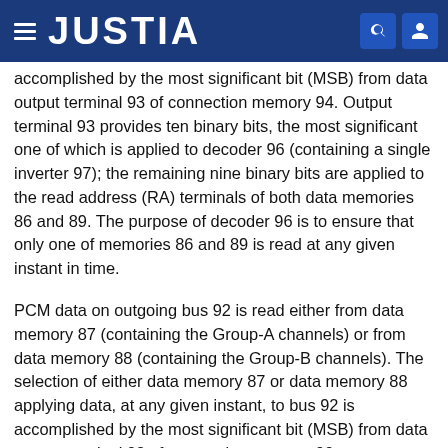JUSTIA
accomplished by the most significant bit (MSB) from data output terminal 93 of connection memory 94. Output terminal 93 provides ten binary bits, the most significant one of which is applied to decoder 96 (containing a single inverter 97); the remaining nine binary bits are applied to the read address (RA) terminals of both data memories 86 and 89. The purpose of decoder 96 is to ensure that only one of memories 86 and 89 is read at any given instant in time.
PCM data on outgoing bus 92 is read either from data memory 87 (containing the Group-A channels) or from data memory 88 (containing the Group-B channels). The selection of either data memory 87 or data memory 88 applying data, at any given instant, to bus 92 is accomplished by the most significant bit (MSB) from data output terminal 98 of connection memory 99.